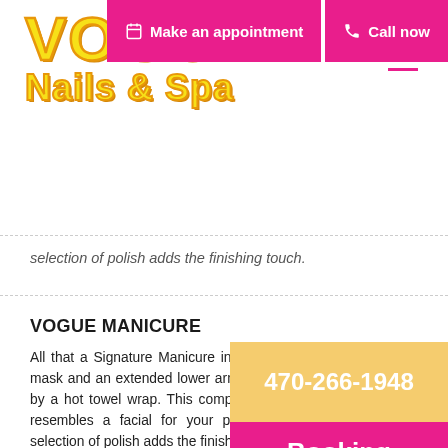[Figure (logo): Vogue Nails & Spa logo with yellow outlined text on white background]
Make an appointment | Call now
selection of polish adds the finishing touch.
VOGUE MANICURE
All that a Signature Manicure includes plus a smoothing mud mask and an extended lower arm and hand massage followed by a hot towel wrap. This complete and luxurious experience resembles a facial for your perfect manicure hands. Your selection of polish adds the finishing touch.
GEL POLISH MANICURE
Your hand receives the spa manicure and they are prepped for the application of gel polish. The gel polish is cured with an LED light and the nails are instantly dry! The gel feels virtually weightless on your hands and the sta... to two weeks. Many popular shades are available.
470-266-1948
Booking